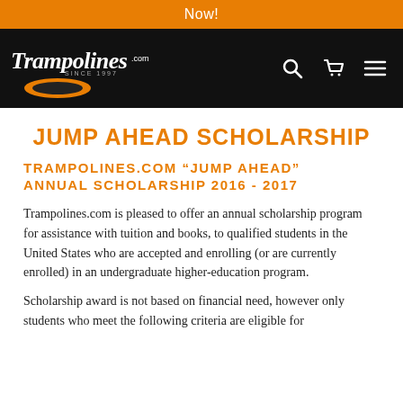Now!
[Figure (logo): Trampolines.com logo with trampoline graphic, search, cart, and menu icons on black navigation bar]
JUMP AHEAD SCHOLARSHIP
TRAMPOLINES.COM “JUMP AHEAD” ANNUAL SCHOLARSHIP 2016 - 2017
Trampolines.com is pleased to offer an annual scholarship program for assistance with tuition and books, to qualified students in the United States who are accepted and enrolling (or are currently enrolled) in an undergraduate higher-education program.
Scholarship award is not based on financial need, however only students who meet the following criteria are eligible for